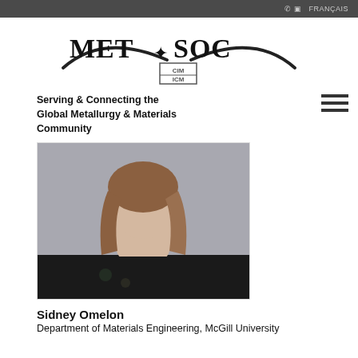FRANÇAIS
[Figure (logo): MetSoc CIM ICM logo with maple leaf and swoosh]
Serving & Connecting the Global Metallurgy & Materials Community
[Figure (photo): Portrait photo of Sidney Omelon]
Sidney Omelon
Department of Materials Engineering, McGill University